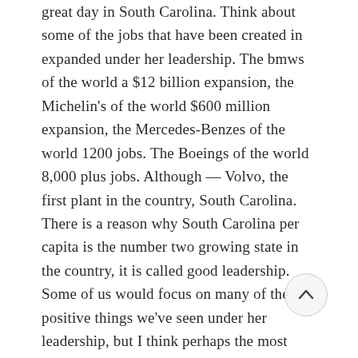great day in South Carolina. Think about some of the jobs that have been created in expanded under her leadership. The bmws of the world a $12 billion expansion, the Michelin's of the world $600 million expansion, the Mercedes-Benzes of the world 1200 jobs. The Boeings of the world 8,000 plus jobs. Although — Volvo, the first plant in the country, South Carolina. There is a reason why South Carolina per capita is the number two growing state in the country, it is called good leadership. Some of us would focus on many of the positive things we've seen under her leadership, but I think perhaps the most important form of leadership we see when times are hard. When everybody is running in the opposite direction. South Carolina has had man-made and natural disasters. I think about less than two years